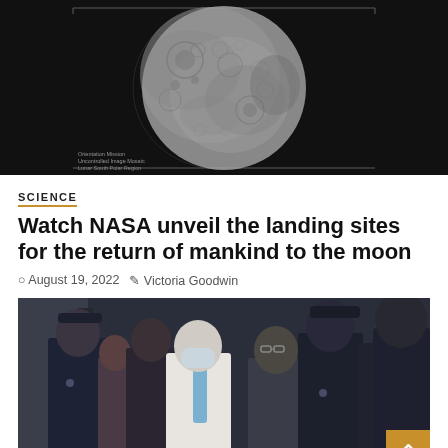[Figure (photo): High-resolution grayscale image of the Moon's surface showing craters, on a black background with measurement lines and labels at the edges]
SCIENCE
Watch NASA unveil the landing sites for the return of mankind to the moon
August 19, 2022   Victoria Goodwin
[Figure (photo): Group of people including police officers in dark uniforms and a man in a suit with a blue tie wearing a face mask, surrounded by officers, leaving a building]